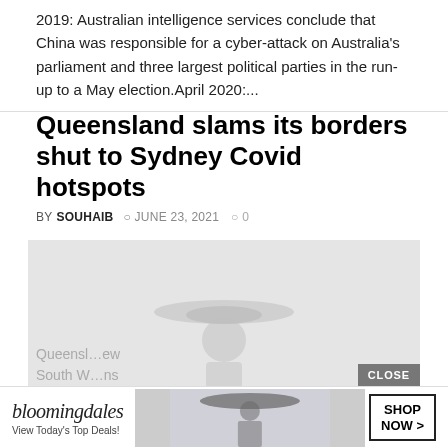2019: Australian intelligence services conclude that China was responsible for a cyber-attack on Australia’s parliament and three largest political parties in the run-up to a May election.April 2020:…
Queensland slams its borders shut to Sydney Covid hotspots
BY SOUHAIB  ○ JUNE 23, 2021  ○ 0
[Figure (photo): A person wearing a wide-brimmed hat, image mostly washed out/light background]
CLOSE
[Figure (infographic): Bloomingdale's advertisement banner: 'bloomingdales - View Today’s Top Deals!' with a fashion photo and SHOP NOW > button]
Queensl… ew South W… ns